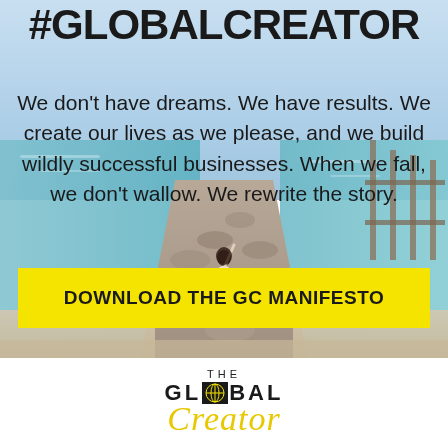[Figure (photo): Person in white dress standing on a rocky jetty/pier with arms raised, surrounded by turquoise ocean water and a wooden dock structure in the background, serving as background image for the promotional content.]
#GLOBALCREATOR
We don't have dreams. We have results. We create our lives as we please, and we build wildly successful businesses. When we fall, we don't wallow. We rewrite the story.
DOWNLOAD THE GC MANIFESTO
[Figure (logo): The Global Creator logo — THE in small caps, GLOBAL in bold uppercase with a globe icon in the middle, and 'Creator' in yellow italic script below.]